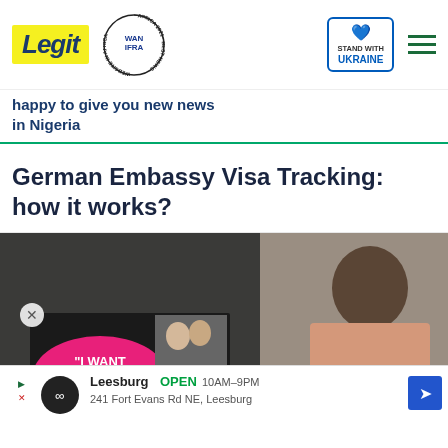Legit - Africa 2021 Best News Website in Africa WAN IFRA - Stand with Ukraine
... continues ... happy to give you new news in Nigeria
German Embassy Visa Tracking: how it works?
[Figure (photo): Main article photo showing a man in pink shirt, with an overlaid video thumbnail showing a couple and text 'I WANT TO BE HAPPY' and a red dismiss button area. An advertisement banner at bottom for Leesburg: OPEN 10AM-9PM, 241 Fort Evans Rd NE, Leesburg.]